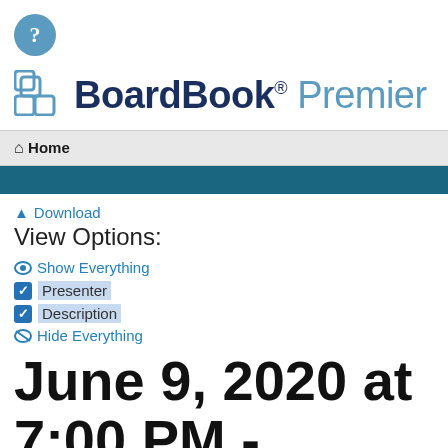[Figure (logo): Help icon: teal circle with white question mark]
[Figure (logo): BoardBook Premier logo with teal grid icon, dark blue 'BoardBook' bold text with registered trademark, and light blue 'Premier' text]
Home
Download
View Options:
Show Everything
Presenter
Description
Hide Everything
June 9, 2020 at 7:00 PM - Regular Meeting